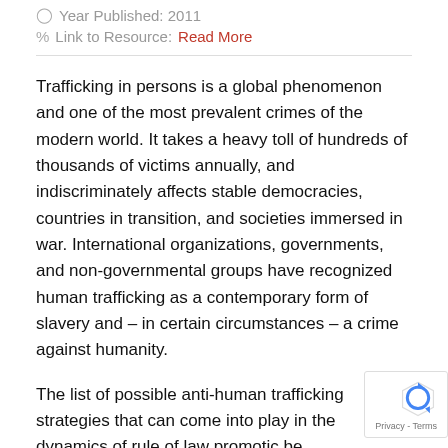Year Published: 2011
Link to Resource: Read More
Trafficking in persons is a global phenomenon and one of the most prevalent crimes of the modern world. It takes a heavy toll of hundreds of thousands of victims annually, and indiscriminately affects stable democracies, countries in transition, and societies immersed in war. International organizations, governments, and non-governmental groups have recognized human trafficking as a contemporary form of slavery and – in certain circumstances – a crime against humanity.
The list of possible anti-human trafficking strategies that can come into play in the dynamics of rule of law promotion be overwhelmingly long. They may consist of legislative reform, awareness raising, advocacy, capacity building,